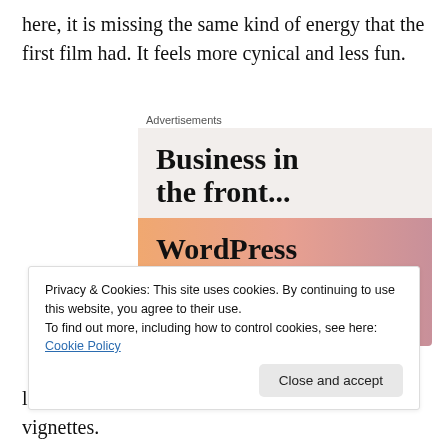here, it is missing the same kind of energy that the first film had. It feels more cynical and less fun.
[Figure (other): Advertisement banner showing 'Business in the front... WordPress in the back.' with peach/orange gradient background]
Privacy & Cookies: This site uses cookies. By continuing to use this website, you agree to their use.
To find out more, including how to control cookies, see here: Cookie Policy
loose here as he does – he's in nearly all of the vignettes.